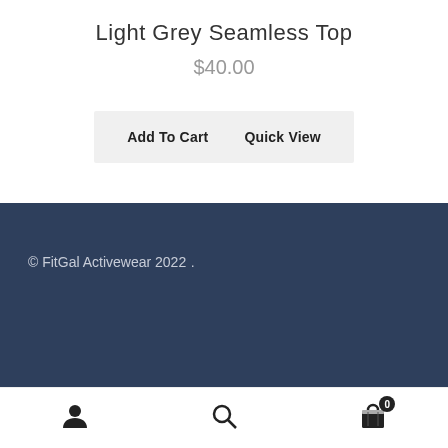Light Grey Seamless Top
$40.00
Add To Cart   Quick View
© FitGal Activewear 2022
.